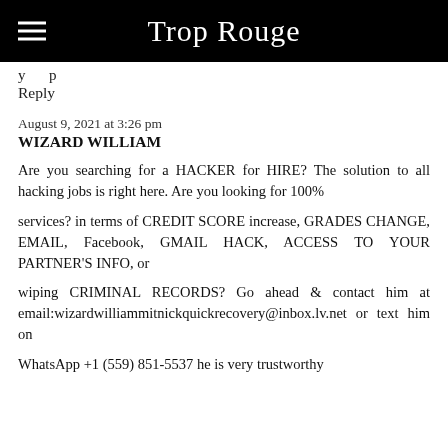Trop Rouge
y p
Reply
August 9, 2021 at 3:26 pm
WIZARD WILLIAM
Are you searching for a HACKER for HIRE? The solution to all hacking jobs is right here. Are you looking for 100%
services? in terms of CREDIT SCORE increase, GRADES CHANGE, EMAIL, Facebook, GMAIL HACK, ACCESS TO YOUR PARTNER'S INFO, or
wiping CRIMINAL RECORDS? Go ahead & contact him at email:wizardwilliammitnickquickrecovery@inbox.lv.net or text him on
WhatsApp +1 (559) 851-5537 he is very trustworthy